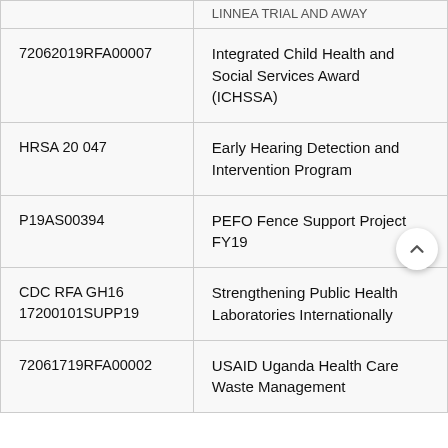| Award Number | Award Title |
| --- | --- |
|  | ...LINNEA  TRIAL AND AWAY |
| 72062019RFA00007 | Integrated Child Health and Social Services Award (ICHSSA) |
| HRSA 20 047 | Early Hearing Detection and Intervention Program |
| P19AS00394 | PEFO Fence Support Project FY19 |
| CDC RFA GH16 17200101SUPP19 | Strengthening Public Health Laboratories Internationally |
| 72061719RFA00002 | USAID Uganda Health Care Waste Management |